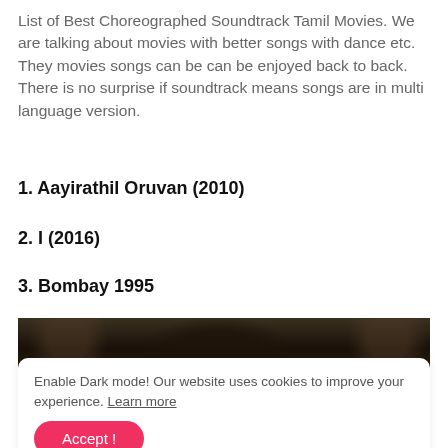List of Best Choreographed Soundtrack Tamil Movies. We are talking about movies with better songs with dance etc. They movies songs can be can be enjoyed back to back. There is no surprise if soundtrack means songs are in multi language version.
1. Aayirathil Oruvan (2010)
2. I (2016)
3. Bombay 1995
[Figure (photo): A dark-toned movie scene image showing an architectural setting with arched doorways and figures, partially obscured by a cookie consent banner overlay.]
Enable Dark mode! Our website uses cookies to improve your experience. Learn more
Accept !